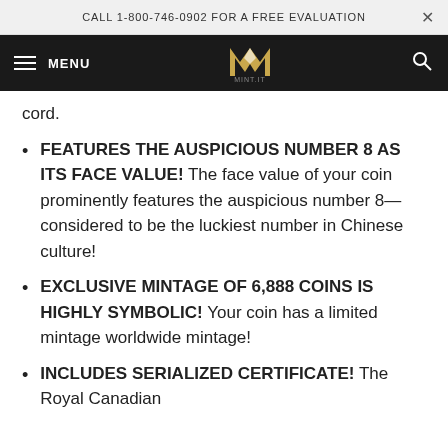CALL 1-800-746-0902 FOR A FREE EVALUATION
[Figure (logo): Mint gold and black M logo with text MINT.IT below on dark navigation bar]
cord.
FEATURES THE AUSPICIOUS NUMBER 8 AS ITS FACE VALUE! The face value of your coin prominently features the auspicious number 8—considered to be the luckiest number in Chinese culture!
EXCLUSIVE MINTAGE OF 6,888 COINS IS HIGHLY SYMBOLIC! Your coin has a limited mintage worldwide mintage!
INCLUDES SERIALIZED CERTIFICATE! The Royal Canadian